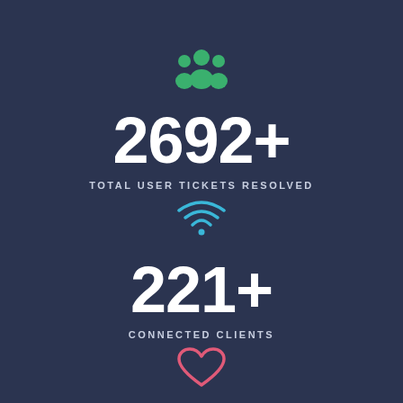[Figure (illustration): Green group/users icon (three silhouettes)]
2692+
TOTAL USER TICKETS RESOLVED
[Figure (illustration): Blue WiFi / signal icon]
221+
CONNECTED CLIENTS
[Figure (illustration): Pink/red heart outline icon]